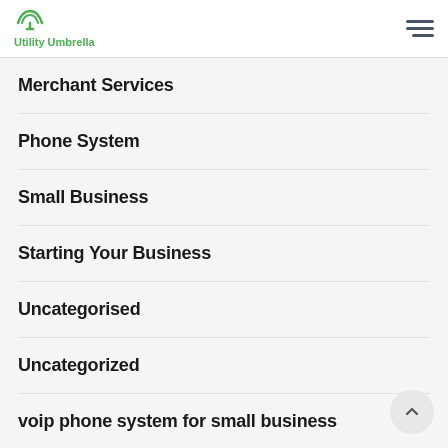Utility Umbrella
Merchant Services
Phone System
Small Business
Starting Your Business
Uncategorised
Uncategorized
voip phone system for small business
VoIP services